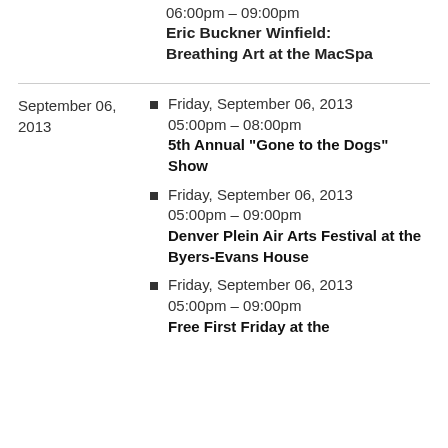06:00pm – 09:00pm
Eric Buckner Winfield: Breathing Art at the MacSpa
September 06, 2013
Friday, September 06, 2013 05:00pm – 08:00pm
5th Annual “Gone to the Dogs” Show
Friday, September 06, 2013 05:00pm – 09:00pm
Denver Plein Air Arts Festival at the Byers-Evans House
Friday, September 06, 2013 05:00pm – 09:00pm
Free First Friday at the